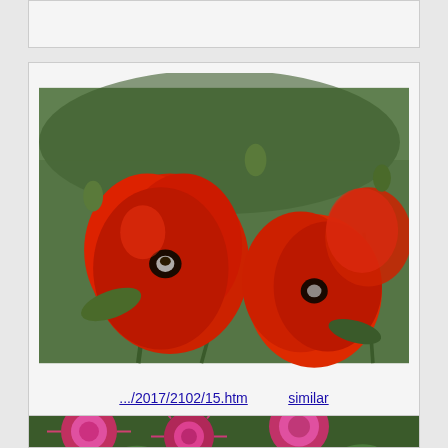[Figure (photo): Top card strip, partially visible, gray background]
[Figure (photo): Red corn poppy flowers in a garden setting, green stems and buds visible in background]
.../2017/2102/15.htm    similar
Red flowers of corn poppy in Botanic Gardens of Komarov Botanical Institute. Saint Petersburg, Russia, July 28, 2017
[Figure (photo): Pink spiky flowers, partially visible at bottom of page, dark green foliage background]